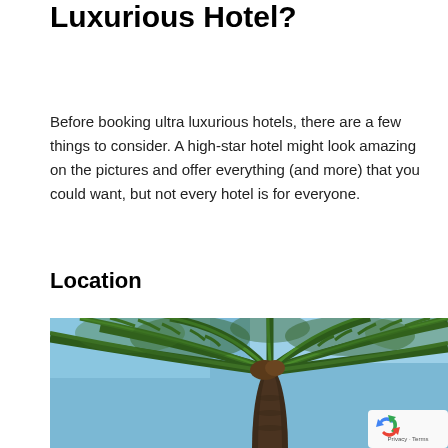Luxurious Hotel?
Before booking ultra luxurious hotels, there are a few things to consider. A high-star hotel might look amazing on the pictures and offer everything (and more) that you could want, but not every hotel is for everyone.
Location
[Figure (photo): Close-up photograph of a palm tree canopy viewed from below against a blue sky, showing green fronds spread outward from the trunk.]